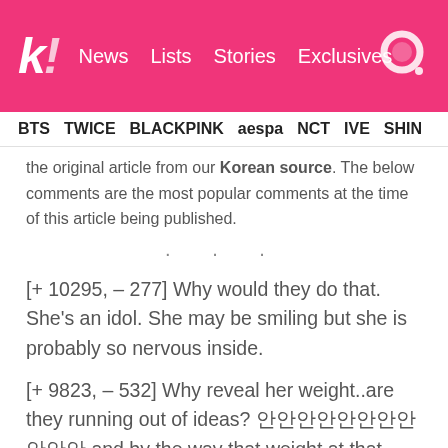k! News Lists Stories Exclusives [search]
BTS TWICE BLACKPINK aespa NCT IVE SHIN
the original article from our Korean source. The below comments are the most popular comments at the time of this article being published.
· · ·
[+ 10295, – 277] Why would they do that. She's an idol. She may be smiling but she is probably so nervous inside.
[+ 9823, – 532] Why reveal her weight..are they running out of ideas? 안안안안안안안안안안안 and by the way that weight at that height is skinny
[+ 4355, – 143] What is with this screen shot